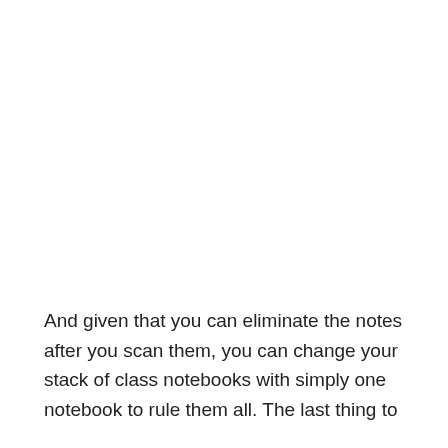And given that you can eliminate the notes after you scan them, you can change your stack of class notebooks with simply one notebook to rule them all. The last thing to